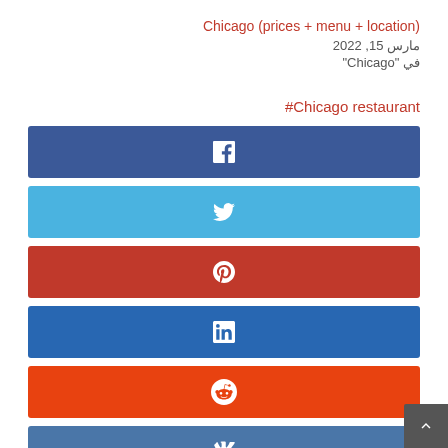Chicago (prices + menu + location)
مارس 15, 2022
في "Chicago"
#Chicago restaurant
[Figure (infographic): Social media share buttons: Facebook (dark blue), Twitter (light blue), Pinterest (red), LinkedIn (blue), Reddit (orange-red), VK (steel blue), with a back-to-top arrow button]